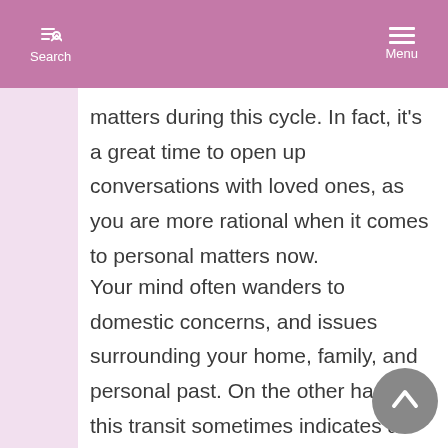Search  Menu
matters during this cycle. In fact, it's a great time to open up conversations with loved ones, as you are more rational when it comes to personal matters now.
Your mind often wanders to domestic concerns, and issues surrounding your home, family, and personal past. On the other hand, this transit sometimes indicates an especially busy, and perhaps hectic, period on the domestic scene. For example, you might take home work or find that people drop by your home often